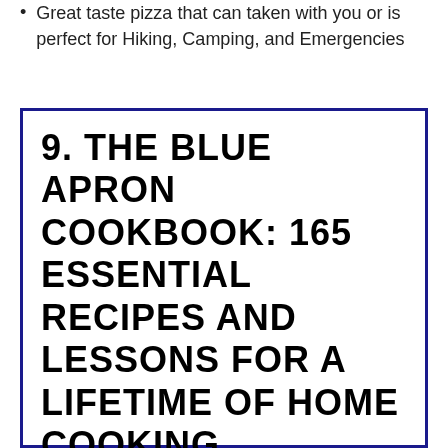Great taste pizza that can taken with you or is perfect for Hiking, Camping, and Emergencies
9. THE BLUE APRON COOKBOOK: 165 ESSENTIAL RECIPES AND LESSONS FOR A LIFETIME OF HOME COOKING